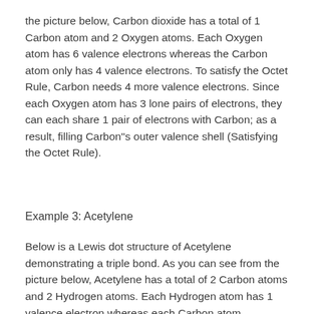the picture below, Carbon dioxide has a total of 1 Carbon atom and 2 Oxygen atoms. Each Oxygen atom has 6 valence electrons whereas the Carbon atom only has 4 valence electrons. To satisfy the Octet Rule, Carbon needs 4 more valence electrons. Since each Oxygen atom has 3 lone pairs of electrons, they can each share 1 pair of electrons with Carbon; as a result, filling Carbon"s outer valence shell (Satisfying the Octet Rule).
Example 3: Acetylene
Below is a Lewis dot structure of Acetylene demonstrating a triple bond. As you can see from the picture below, Acetylene has a total of 2 Carbon atoms and 2 Hydrogen atoms. Each Hydrogen atom has 1 valence electron whereas each Carbon atom